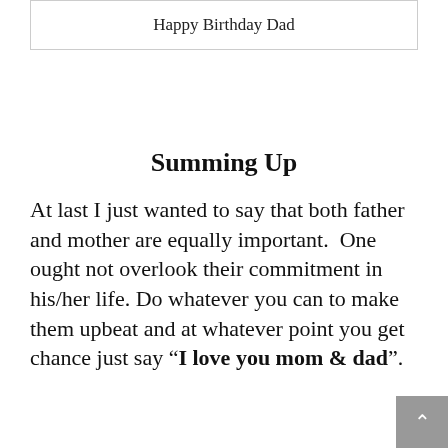| Happy Birthday Dad |
Summing Up
At last I just wanted to say that both father and mother are equally important. One ought not overlook their commitment in his/her life. Do whatever you can to make them upbeat and at whatever point you get chance just say “I love you mom & dad”.